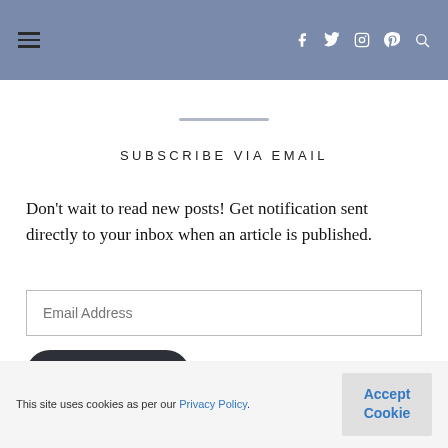≡  f  twitter  instagram  pinterest  search
SUBSCRIBE VIA EMAIL
Don't wait to read new posts! Get notification sent directly to your inbox when an article is published.
Email Address [input field] Subscribe [button]
This site uses cookies as per our Privacy Policy.  Accept Cookie